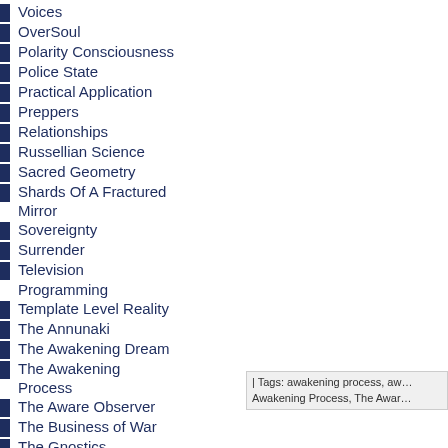Voices
OverSoul
Polarity Consciousness
Police State
Practical Application
Preppers
Relationships
Russellian Science
Sacred Geometry
Shards Of A Fractured Mirror
Sovereignty
Surrender
Television Programming
Template Level Reality
The Annunaki
The Awakening Dream
The Awakening Process
The Aware Observer
The Business of War
The Gnostics
The Orbs
The Shalanaya
Transparency
Triangle Craft
| Tags: awakening process, aw… Awakening Process, The Awar…